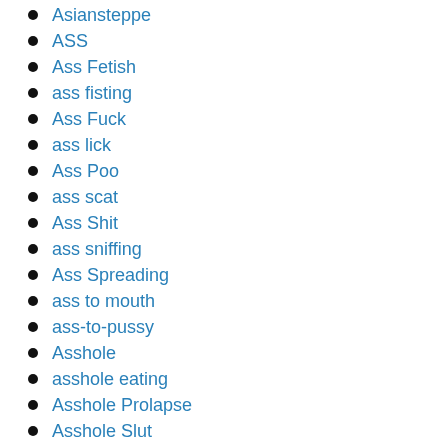Asiansteppe
ASS
Ass Fetish
ass fisting
Ass Fuck
ass lick
Ass Poo
ass scat
Ass Shit
ass sniffing
Ass Spreading
ass to mouth
ass-to-pussy
Asshole
asshole eating
Asshole Prolapse
Asshole Slut